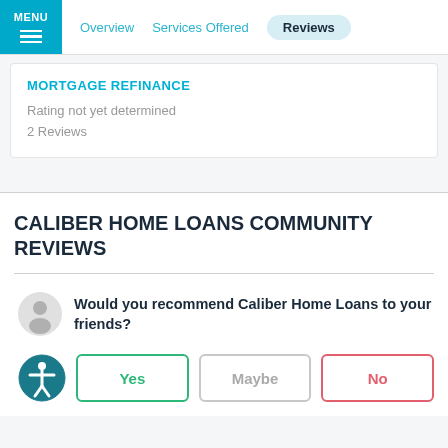MENU | Overview | Services Offered | Reviews
MORTGAGE REFINANCE
Rating not yet determined
2 Reviews
CALIBER HOME LOANS COMMUNITY REVIEWS
Would you recommend Caliber Home Loans to your friends?
Yes | Maybe | No